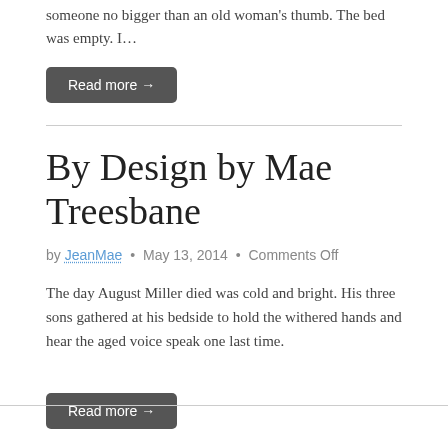someone no bigger than an old woman's thumb. The bed was empty. I…
Read more →
By Design by Mae Treesbane
by JeanMae • May 13, 2014 • Comments Off
The day August Miller died was cold and bright. His three sons gathered at his bedside to hold the withered hands and hear the aged voice speak one last time.
Read more →